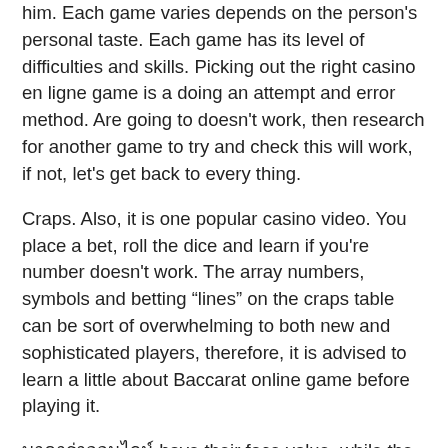him. Each game varies depends on the person's personal taste. Each game has its level of difficulties and skills. Picking out the right casino en ligne game is a doing an attempt and error method. Are going to doesn't work, then research for another game to try and check this will work, if not, let's get back to every thing.
Craps. Also, it is one popular casino video. You place a bet, roll the dice and learn if you're number doesn't work. The array numbers, symbols and betting “lines” on the craps table can be sort of overwhelming to both new and sophisticated players, therefore, it is advised to learn a little about Baccarat online game before playing it.
บาคาร่าออนไลน์ have their face value, while the aces count as one and the picture cards as ten. Adequate a double figure count, the first digit is ignored, For example, if you have a total card associated with 17, the count is seven.